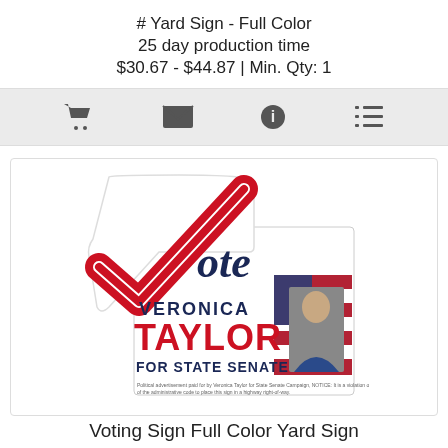# Yard Sign - Full Color
25 day production time
$30.67 - $44.87 | Min. Qty: 1
[Figure (other): Icon bar with shopping cart, envelope, info, and list icons]
[Figure (illustration): Political yard sign for Veronica Taylor for State Senate, shaped with a large red checkmark as the V in Vote, showing candidate name and photo with American flag background]
Voting Sign Full Color Yard Sign